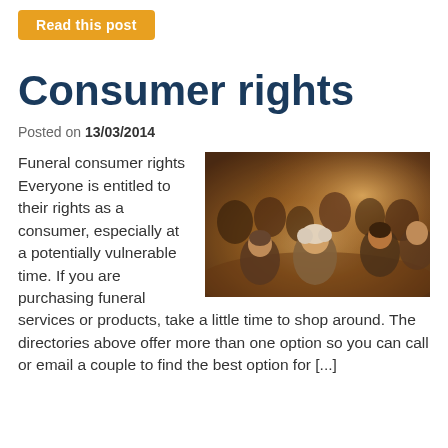[Figure (other): Button/link: 'Read this post' in white text on orange/amber background]
Consumer rights
Posted on 13/03/2014
Funeral consumer rights Everyone is entitled to their rights as a consumer, especially at a potentially vulnerable time. If you are purchasing funeral services or products, take a little time to shop around. The directories above offer more than one option so you can call or email a couple to find the best option for [...]
[Figure (photo): Photo of people seated at a formal event or conference, indoor setting with warm lighting. A woman with light curly hair is visible in the foreground.]